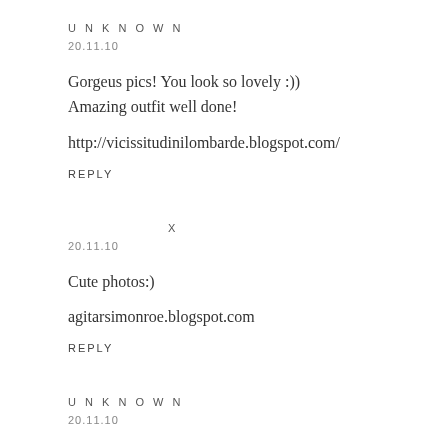UNKNOWN
20.11.10
Gorgeus pics! You look so lovely :))
Amazing outfit well done!
http://vicissitudinilombarde.blogspot.com/
REPLY
X
20.11.10
Cute photos:)
agitarsimonroe.blogspot.com
REPLY
UNKNOWN
20.11.10